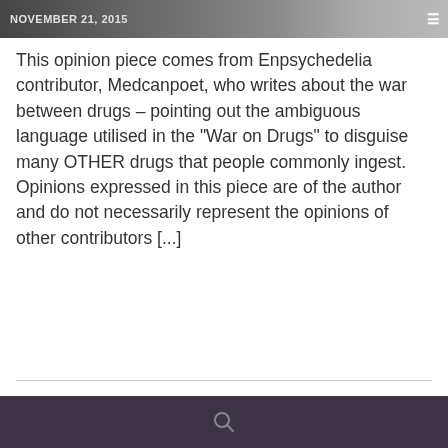[Figure (photo): Top image banner with date NOVEMBER 21, 2015 and hamburger menu icon overlay]
This opinion piece comes from Enpsychedelia contributor, Medcanpoet, who writes about the war between drugs – pointing out the ambiguous language utilised in the "War on Drugs" to disguise many OTHER drugs that people commonly ingest. Opinions expressed in this piece are of the author and do not necessarily represent the opinions of other contributors [...]
[Figure (screenshot): Article card with dark background showing category DRUG LAW & POLICY, comment count 4, like count 0, and partial title '4 Reasons Why Ending']